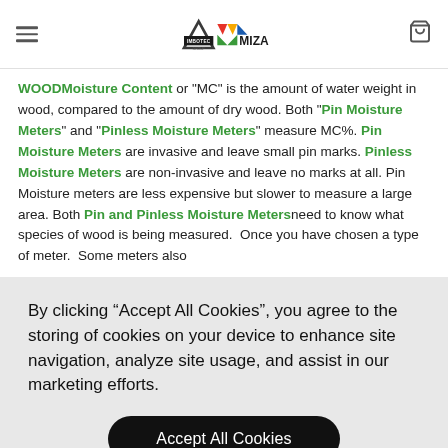Imbotec Group / Miza logo with hamburger menu and cart icon
WOODMoisture Content or "MC" is the amount of water weight in wood, compared to the amount of dry wood. Both "Pin Moisture Meters" and "Pinless Moisture Meters" measure MC%. Pin Moisture Meters are invasive and leave small pin marks. Pinless Moisture Meters are non-invasive and leave no marks at all. Pin Moisture meters are less expensive but slower to measure a large area. Both Pin and Pinless Moisture Metersneed to know what species of wood is being measured.  Once you have chosen a type of meter.  Some meters also
By clicking “Accept All Cookies”, you agree to the storing of cookies on your device to enhance site navigation, analyze site usage, and assist in our marketing efforts.
Accept All Cookies